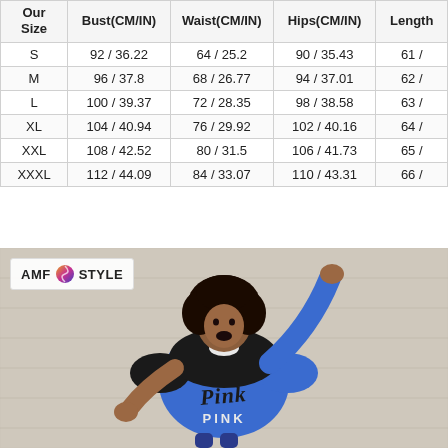| Our Size | Bust(CM/IN) | Waist(CM/IN) | Hips(CM/IN) | Length |
| --- | --- | --- | --- | --- |
| S | 92 / 36.22 | 64 / 25.2 | 90 / 35.43 | 61 / |
| M | 96 / 37.8 | 68 / 26.77 | 94 / 37.01 | 62 / |
| L | 100 / 39.37 | 72 / 28.35 | 98 / 38.58 | 63 / |
| XL | 104 / 40.94 | 76 / 29.92 | 102 / 40.16 | 64 / |
| XXL | 108 / 42.52 | 80 / 31.5 | 106 / 41.73 | 65 / |
| XXXL | 112 / 44.09 | 84 / 33.07 | 110 / 43.31 | 66 / |
[Figure (photo): Woman wearing a blue and black Pink brand t-shirt, posing with one arm raised. AMF Style brand logo visible in top left corner.]